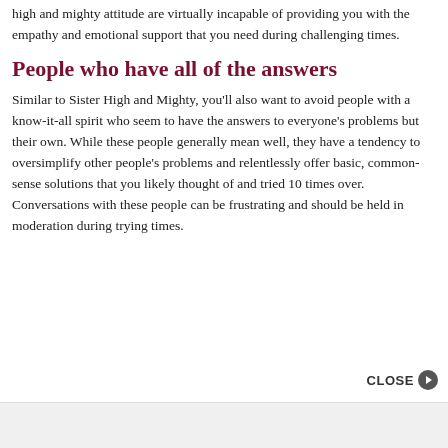high and mighty attitude are virtually incapable of providing you with the empathy and emotional support that you need during challenging times.
People who have all of the answers
Similar to Sister High and Mighty, you'll also want to avoid people with a know-it-all spirit who seem to have the answers to everyone's problems but their own. While these people generally mean well, they have a tendency to oversimplify other people's problems and relentlessly offer basic, common-sense solutions that you likely thought of and tried 10 times over. Conversations with these people can be frustrating and should be held in moderation during trying times.